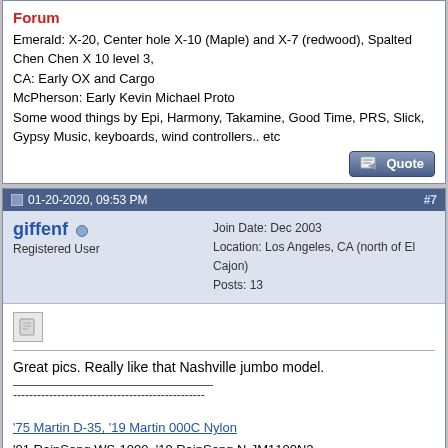Emerald: X-20, Center hole X-10 (Maple) and X-7 (redwood), Spalted Chen Chen X 10 level 3,
CA: Early OX and Cargo
McPherson: Early Kevin Michael Proto
Some wood things by Epi, Harmony, Takamine, Good Time, PRS, Slick, Gypsy Music, keyboards, wind controllers.. etc
01-20-2020, 09:53 PM  #7
giffenf
Registered User
Join Date: Dec 2003
Location: Los Angeles, CA (north of El Cajon)
Posts: 13
Great pics. Really like that Nashville jumbo model.
'75 Martin D-35, '19 Martin 000C Nylon
'01 RainSong WS-1000, '19 RainSong N-JM1100N2
'63 Guild F-30
'99 Large, unfriendly dog
01-21-2020, 07:06 AM  #8